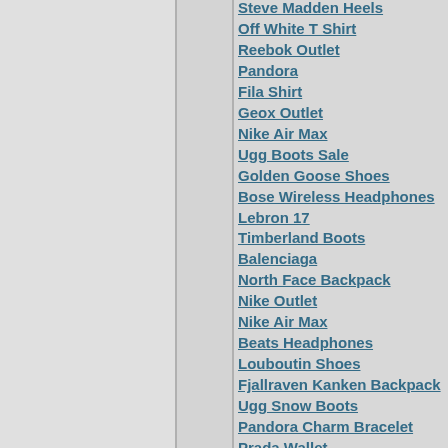Steve Madden Heels
Off White T Shirt
Reebok Outlet
Pandora
Fila Shirt
Geox Outlet
Nike Air Max
Ugg Boots Sale
Golden Goose Shoes
Bose Wireless Headphones
Lebron 17
Timberland Boots
Balenciaga
North Face Backpack
Nike Outlet
Nike Air Max
Beats Headphones
Louboutin Shoes
Fjallraven Kanken Backpack
Ugg Snow Boots
Pandora Charm Bracelet
Prada Wallet
Jimmy Choo
Ferragamo
Pandora Jewelry
Ferragamo Shoes
Skechers Sandals
Kate Spade Handbags
Golden Goose Sneakers
Ugg Boots
Mont Blanc Fountain Pen
Jordan Retro 11
Kate Spade Phone Case
Ralph Lauren Polo Shirts
Armani Dress
G Star Shirts
Birkenstock Shoes
Coach Handbags Canada